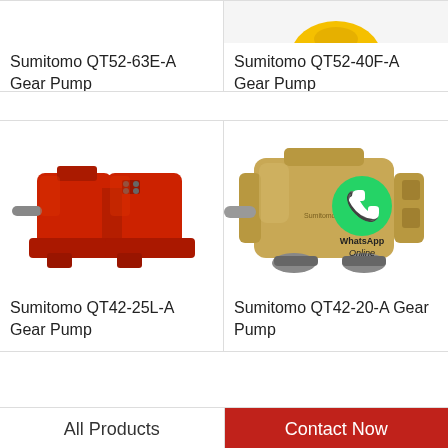[Figure (photo): Sumitomo QT52-63E-A Gear Pump — top portion cropped, white background]
[Figure (photo): Sumitomo QT52-40F-A Gear Pump — yellow/orange pump, partially cropped at top]
Sumitomo QT52-63E-A Gear Pump
Sumitomo QT52-40F-A Gear Pump
[Figure (photo): Sumitomo QT42-25L-A Gear Pump — large red/orange industrial hydraulic pump]
[Figure (photo): Sumitomo QT42-20-A Gear Pump — gold/bronze colored gear pump with WhatsApp Online overlay]
Sumitomo QT42-25L-A Gear Pump
Sumitomo QT42-20-A Gear Pump
All Products
Contact Now